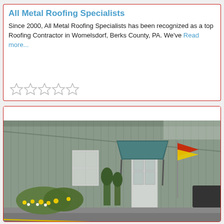All Metal Roofing Specialists
Since 2000, All Metal Roofing Specialists has been recognized as a top Roofing Contractor in Womelsdorf, Berks County, PA. We've Read more...
[Figure (other): Five empty star rating icons in a row]
[Figure (photo): Exterior photo of a grey corrugated metal building with a teal/dark green metal awning over the entrance door, flower beds with yellow and white flowers, and an open flag near the entrance]